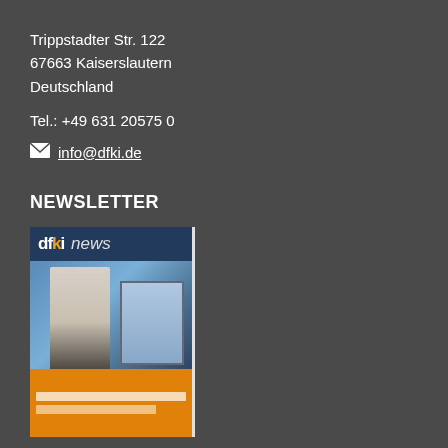Trippstadter Str. 122
67663 Kaiserslautern
Deutschland
Tel.: +49 631 20575 0
✉ info@dfki.de
NEWSLETTER
[Figure (photo): DFKI news magazine cover showing a person using VR/AR technology near an information kiosk, with orange banner at bottom]
» ALLE ANSEHEN